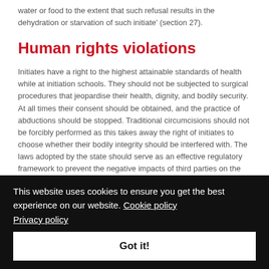water or food to the extent that such refusal results in the dehydration or starvation of such initiate' (section 27).
Human rights violations
Initiates have a right to the highest attainable standards of health while at initiation schools. They should not be subjected to surgical procedures that jeopardise their health, dignity, and bodily security. At all times their consent should be obtained, and the practice of abductions should be stopped. Traditional circumcisions should not be forcibly performed as this takes away the right of initiates to choose whether their bodily integrity should be interfered with. The laws adopted by the state should serve as an effective regulatory framework to prevent the negative impacts of third parties on the initiates' right to health care. While at the initiation schools, initiates have a right to be treated with dignity and should not be subjected to any inhumane or cruel treatment, including torture.
This website uses cookies to ensure you get the best experience on our website. Cookie policy Privacy policy
Got it!